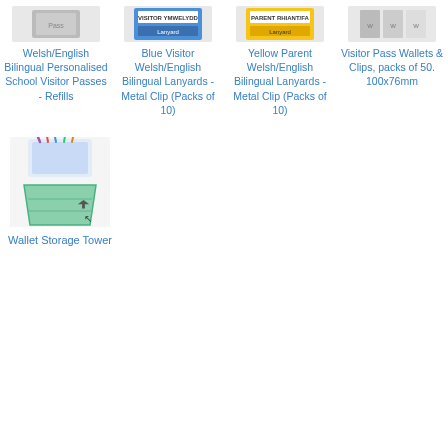[Figure (photo): Product image - Welsh/English Bilingual Personalised School Visitor Passes - Refills]
Welsh/English Bilingual Personalised School Visitor Passes - Refills
[Figure (photo): Product image - Blue Visitor Welsh/English Bilingual Lanyards - Metal Clip (Packs of 10)]
Blue Visitor Welsh/English Bilingual Lanyards - Metal Clip (Packs of 10)
[Figure (photo): Product image - Yellow Parent Welsh/English Bilingual Lanyards - Metal Clip (Packs of 10)]
Yellow Parent Welsh/English Bilingual Lanyards - Metal Clip (Packs of 10)
[Figure (photo): Product image - Visitor Pass Wallets & Clips, packs of 50. 100x76mm]
Visitor Pass Wallets & Clips, packs of 50. 100x76mm
[Figure (photo): Product image - Wallet Storage Tower]
Wallet Storage Tower